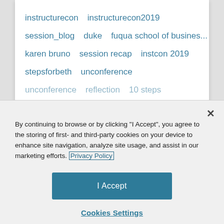instructurecon  instructurecon2019
session_blog  duke  fuqua school of busines...
karen bruno  session recap  instcon 2019
stepsforbeth  unconference
unconference  reflection  10 steps
By continuing to browse or by clicking "I Accept", you agree to the storing of first- and third-party cookies on your device to enhance site navigation, analyze site usage, and assist in our marketing efforts. Privacy Policy
I Accept
Cookies Settings